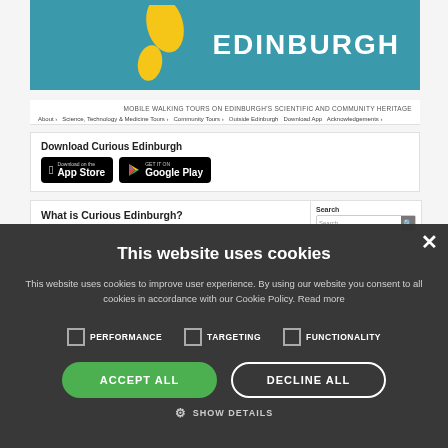[Figure (screenshot): Curious Edinburgh website header with teal background showing 'CURIOUS EDINBURGH' logo with yellow footprint squiggle design]
MOBILE WALKING TOURS ON EDINBURGH'S SCIENTIFIC AND COMMUNITY HERITAGE
About   Science, Technology & Medicine Tours   Community Tours   Outside Edinburgh   Download App   Acknowledgements
Download Curious Edinburgh
[Figure (screenshot): App Store and Google Play download badges on black background]
What is Curious Edinburgh?
Search
This website uses cookies
This website uses cookies to improve user experience. By using our website you consent to all cookies in accordance with our Cookie Policy. Read more
PERFORMANCE   TARGETING   FUNCTIONALITY
ACCEPT ALL
DECLINE ALL
SHOW DETAILS